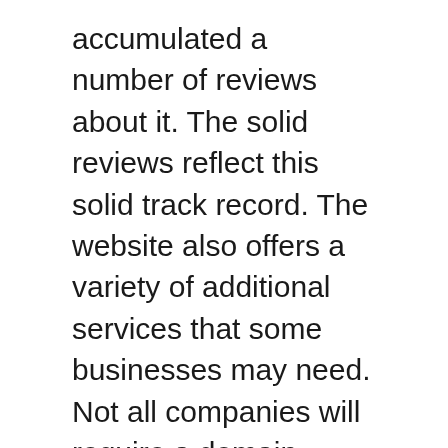accumulated a number of reviews about it. The solid reviews reflect this solid track record. The website also offers a variety of additional services that some businesses may need. Not all companies will require a domain name or operating agreement. Nevertheless, there are ways to get additional support, such as the express processing option.
The Inc Authority website provides many services to make the process of forming a company simple and fast. They offer customer support and business information. You will also receive free delivery and storage of all documents, which are essential for a business's legal status. You will have to remit taxes to the government and have an